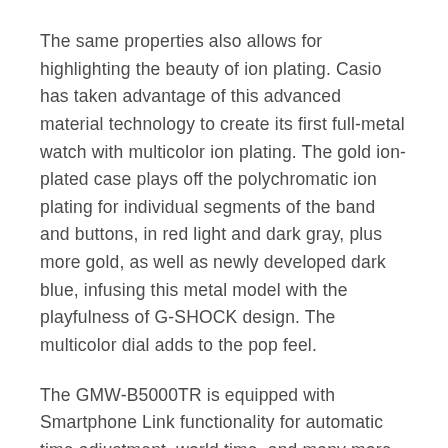The same properties also allows for highlighting the beauty of ion plating. Casio has taken advantage of this advanced material technology to create its first full-metal watch with multicolor ion plating. The gold ion-plated case plays off the polychromatic ion plating for individual segments of the band and buttons, in red light and dark gray, plus more gold, as well as newly developed dark blue, infusing this metal model with the playfulness of G-SHOCK design. The multicolor dial adds to the pop feel.
The GMW-B5000TR is equipped with Smartphone Link functionality for automatic time adjustment, world time, and many more functions that are easy